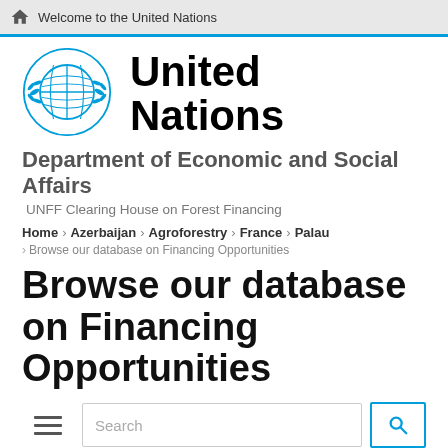Welcome to the United Nations
[Figure (logo): United Nations emblem logo in blue]
United Nations
Department of Economic and Social Affairs
UNFF Clearing House on Forest Financing
Home › Azerbaijan › Agroforestry › France › Palau › Browse our database on Financing Opportunities
Browse our database on Financing Opportunities